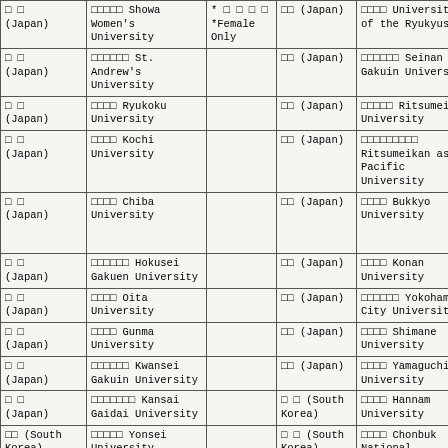| □ □ (Japan) | □□□□□ Showa Women's University | * □ □ □ □ *Female Only | □□ (Japan) | □□□□ University of the Ryukyus |  |
| □ □ (Japan) | □□□□□□ St. Andrew's University |  | □□ (Japan) | □□□□□□ Seinan Gakuin University |  |
| □ □ (Japan) | □□□□ Ryukoku University |  | □□ (Japan) | □□□□□ Ritsumeikan University |  |
| □ □ (Japan) | □□□□ Kochi University |  | □□ (Japan) | □□□□□□□□□ Ritsumeikan asia Pacific University |  |
| □ □ (Japan) | □□□□ Chiba University |  | □□ (Japan) | □□□□ Bukkyo University | □□□□□□ One Acdemic year Only |
| □ □ (Japan) | □□□□□□ Hokusei Gakuen University |  | □□ (Japan) | □□□□ Konan University |  |
| □ □ (Japan) | □□□□ Oita University |  | □□ (Japan) | □□□□□□ Yokohama City University |  |
| □ □ (Japan) | □□□□ Gunma University |  | □□ (Japan) | □□□□ Shimane University |  |
| □ □ (Japan) | □□□□□□ Kwansei Gakuin University |  | □□ (Japan) | □□□□ Yamaguchi University |  |
| □ □ (Japan) | □□□□□□□ Kansai Gaidai University |  | □ □ (South Korea) | □□□□ Hannam University |  |
| □□ (South Korea) | □□□□□ Yonsei University |  | □ □ (South Korea) | □□□□ Chonbuk National University |  |
| □□ (South Korea) | □□□□□□□□ The Catholic University of Korea |  | □ □ (Indonesia) | □□□□□ University of HKBP Nommensen |  |